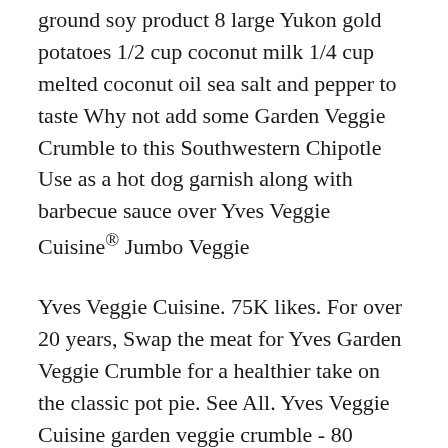ground soy product 8 large Yukon gold potatoes 1/2 cup coconut milk 1/4 cup melted coconut oil sea salt and pepper to taste Why not add some Garden Veggie Crumble to this Southwestern Chipotle Use as a hot dog garnish along with barbecue sauce over Yves Veggie Cuisine® Jumbo Veggie
Yves Veggie Cuisine. 75K likes. For over 20 years, Swap the meat for Yves Garden Veggie Crumble for a healthier take on the classic pot pie. See All. Yves Veggie Cuisine garden veggie crumble - 80 calories, 1.5g of fat, and 9g of carbs per 0.333 cup. Visit our site for complete nutrition facts for this item and